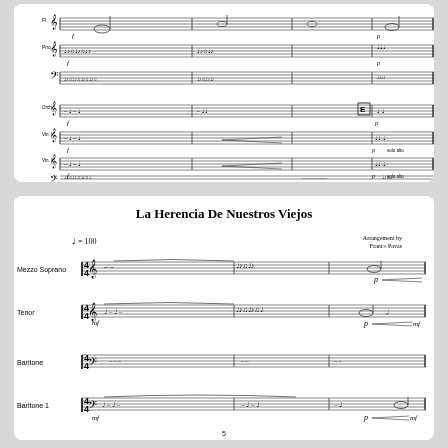[Figure (other): Top section: orchestral music score excerpt showing multiple instrument staves with notes, dynamics, and rehearsal mark E]
La Herencia De Nuestros Viejos
♩ = 100
Arrangement by
Franco Pavas
[Figure (other): Bottom section: beginning of score for 'La Herencia De Nuestros Viejos', arrangement by Franco Pavas, showing Mezzo Soprano, Tenor, Baritone, and Baritone 1 parts in 4/4 time at tempo 100, with dynamics p and mf marked]